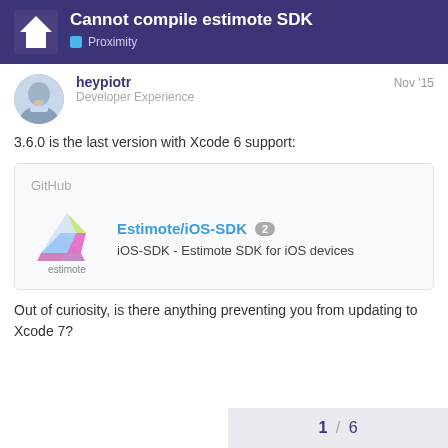Cannot compile estimote SDK — Proximity
heypiotr — Developer Experience — Nov '15
3.6.0 is the last version with Xcode 6 support:
[Figure (screenshot): GitHub card linking to Estimote/iOS-SDK repository. Shows GitHub label at top, Estimote logo with 'estimote' label, repository title 'Estimote/iOS-SDK' with badge '2', and description 'iOS-SDK - Estimote SDK for iOS devices'.]
Out of curiosity, is there anything preventing you from updating to Xcode 7?
1 / 6